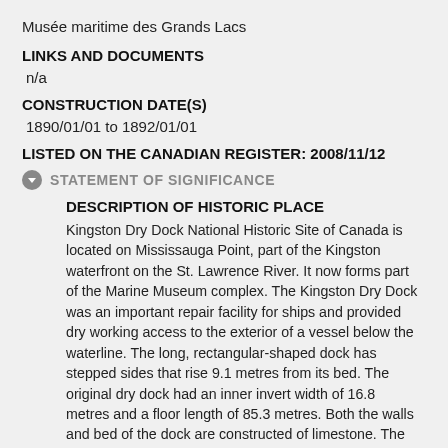Musée maritime des Grands Lacs
LINKS AND DOCUMENTS
n/a
CONSTRUCTION DATE(S)
1890/01/01 to 1892/01/01
LISTED ON THE CANADIAN REGISTER: 2008/11/12
STATEMENT OF SIGNIFICANCE
DESCRIPTION OF HISTORIC PLACE
Kingston Dry Dock National Historic Site of Canada is located on Mississauga Point, part of the Kingston waterfront on the St. Lawrence River. It now forms part of the Marine Museum complex. The Kingston Dry Dock was an important repair facility for ships and provided dry working access to the exterior of a vessel below the waterline. The long, rectangular-shaped dock has stepped sides that rise 9.1 metres from its bed. The original dry dock had an inner invert width of 16.8 metres and a floor length of 85.3 metres. Both the walls and bed of the dock are constructed of limestone. The dock was subsequently lengthened to 115.2 metres using concrete. The dock gate or floating caisson is seated